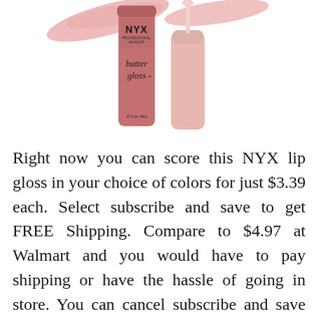[Figure (photo): NYX Professional Makeup Butter Gloss lip gloss product photo showing the tube and applicator cap in a mauve/pink color, with a smear of gloss visible at the top.]
Right now you can score this NYX lip gloss in your choice of colors for just $3.39 each. Select subscribe and save to get FREE Shipping. Compare to $4.97 at Walmart and you would have to pay shipping or have the hassle of going in store. You can cancel subscribe and save anytime after you place your order with no further obligation. Click here to snag this before